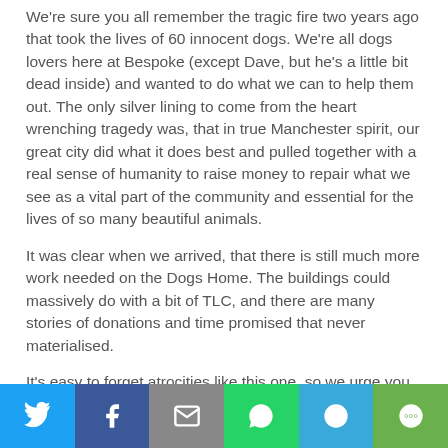We're sure you all remember the tragic fire two years ago that took the lives of 60 innocent dogs. We're all dogs lovers here at Bespoke (except Dave, but he's a little bit dead inside) and wanted to do what we can to help them out. The only silver lining to come from the heart wrenching tragedy was, that in true Manchester spirit, our great city did what it does best and pulled together with a real sense of humanity to raise money to repair what we see as a vital part of the community and essential for the lives of so many beautiful animals.
It was clear when we arrived, that there is still much more work needed on the Dogs Home. The buildings could massively do with a bit of TLC, and there are many stories of donations and time promised that never materialised.
It's easy to forget atrocities like this one, so we urge you – if you can help in anyway – we know it
[Figure (infographic): Social sharing bar with Twitter (blue), Facebook (dark blue), Email (grey), WhatsApp (green), SMS (light blue), and More (green) buttons]